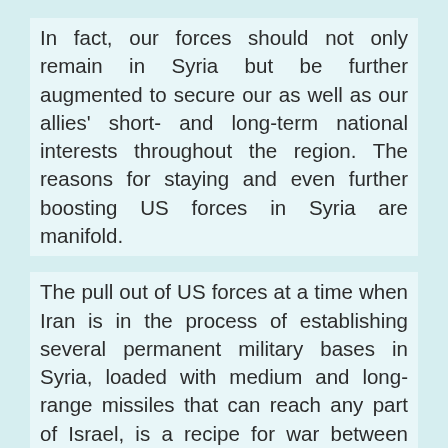In fact, our forces should not only remain in Syria but be further augmented to secure our as well as our allies' short- and long-term national interests throughout the region. The reasons for staying and even further boosting US forces in Syria are manifold.
The pull out of US forces at a time when Iran is in the process of establishing several permanent military bases in Syria, loaded with medium and long-range missiles that can reach any part of Israel, is a recipe for war between Israel and Iran. The American withdrawal would motivate Iran to further destabilize the region, support extremist groups, especially Hezbollah, and accelerate its ballistic missiles program. More importantly, it will allow Iran to secure a contiguous